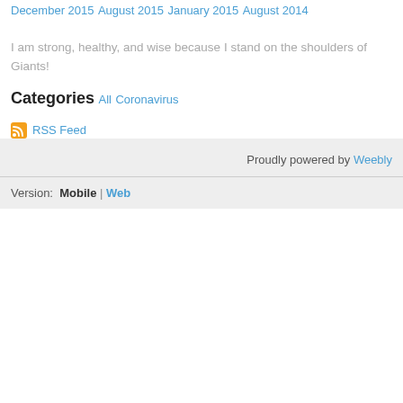December 2015
August 2015
January 2015
August 2014
I am strong, healthy, and wise because I stand on the shoulders of Giants!
Categories
All
Coronavirus
RSS Feed
Proudly powered by Weebly
Version: Mobile | Web